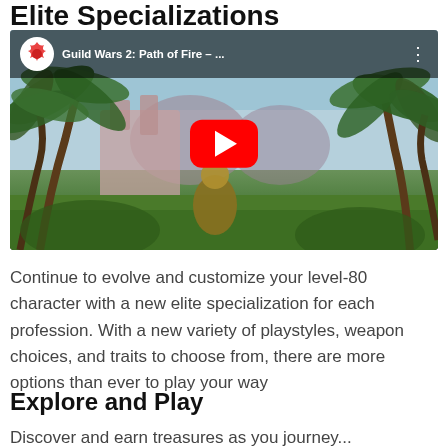Elite Specializations
[Figure (screenshot): YouTube video thumbnail showing Guild Wars 2: Path of Fire game footage with palm trees, ruins, and a character in golden armor. Video title shown as 'Guild Wars 2: Path of Fire – ...' with Guild Wars 2 channel logo and red YouTube play button.]
Continue to evolve and customize your level-80 character with a new elite specialization for each profession. With a new variety of playstyles, weapon choices, and traits to choose from, there are more options than ever to play your way
Explore and Play
Discover and earn treasures as you journey...